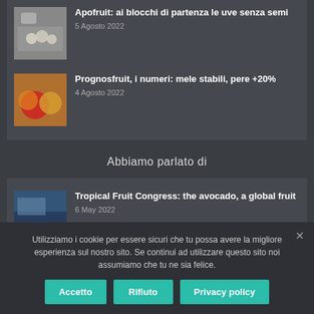[Figure (photo): Small thumbnail of packaged seedless grapes]
Apofruit: ai blocchi di partenza le uve senza semi
5 Agosto 2022
[Figure (photo): Small thumbnail of red and yellow apples]
Prognosfruit, i numeri: mele stabili, pere +20%
4 Agosto 2022
Abbiamo parlato di
[Figure (photo): Small thumbnail of Tropical Fruit Congress event hall]
Tropical Fruit Congress: the avocado, a global fruit
6 May 2022
Utilizziamo i cookie per essere sicuri che tu possa avere la migliore esperienza sul nostro sito. Se continui ad utilizzare questo sito noi assumiamo che tu ne sia felice.